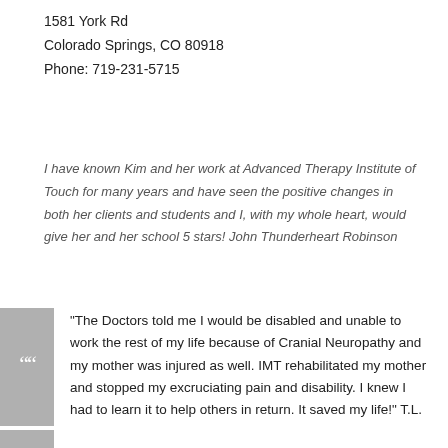1581 York Rd
Colorado Springs, CO 80918
Phone:  719-231-5715
I have known Kim and her work at Advanced Therapy Institute of Touch for many years and have seen the positive changes in both her clients and students and I, with my whole heart, would give her and her school 5 stars! John Thunderheart Robinson
"The Doctors told me I would be disabled and unable to work the rest of my life because of Cranial Neuropathy and my mother was injured as well.  IMT rehabilitated my mother and stopped my excruciating pain and disability.  I knew I had to learn it to help others in return. It saved my life!"  T.L.